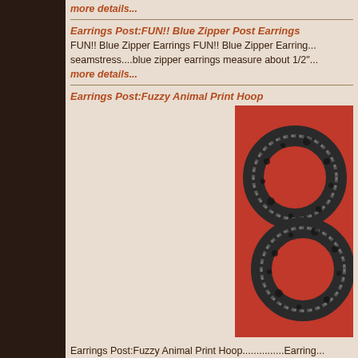more details...
Earrings Post:FUN!! Blue Zipper Post Earrings
FUN!! Blue Zipper Earrings FUN!! Blue Zipper Earrings seamstress....blue zipper earrings measure about 1/2"...
more details...
Earrings Post:Fuzzy Animal Print Hoop
[Figure (photo): Fuzzy animal print hoop earrings on red background - two dark hoop earrings with metallic spotted fuzzy fabric]
Earrings Post:Fuzzy Animal Print Hoop...............Earring posts....metallic effect on the fuzzy fabric...very...
more details...
Earrings Post:Gold & Creamy Tan Disc Pierced Earrings